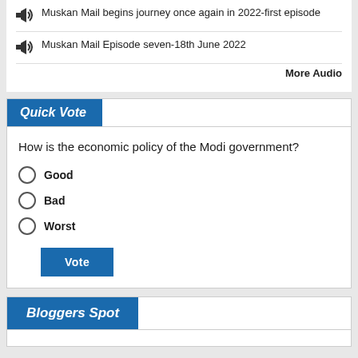Muskan Mail begins journey once again in 2022-first episode
Muskan Mail Episode seven-18th June 2022
More Audio
Quick Vote
How is the economic policy of the Modi government?
Good
Bad
Worst
Vote
Bloggers Spot